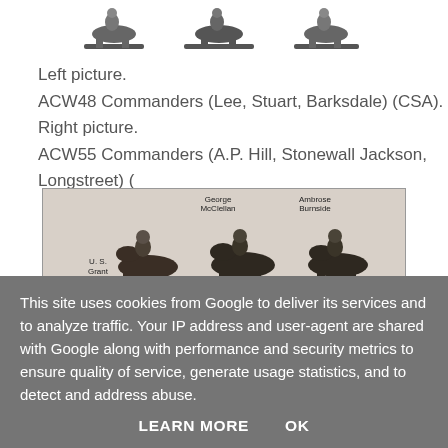[Figure (photo): Partial image of miniature figurines on horseback (cropped, top portion visible) – CSA commanders set]
Left picture.
ACW48 Commanders (Lee, Stuart, Barksdale) (CSA).
Right picture.
ACW55 Commanders (A.P. Hill, Stonewall Jackson, Longstreet) (
[Figure (photo): Photo of three mounted military miniature figurines labeled George McClellan, Ambrose Burnside, and U.S. Grant]
This site uses cookies from Google to deliver its services and to analyze traffic. Your IP address and user-agent are shared with Google along with performance and security metrics to ensure quality of service, generate usage statistics, and to detect and address abuse.
LEARN MORE    OK